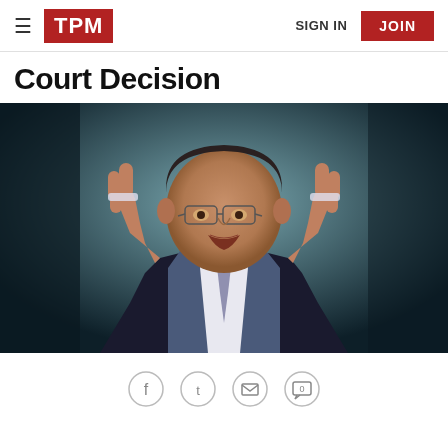TPM | SIGN IN | JOIN
Court Decision
[Figure (photo): A man in a dark suit and tie with glasses, raising both index fingers, photographed against a dark background. Appears to be Justice Antonin Scalia speaking at a podium.]
Social sharing icons: Facebook, Twitter, Email, Comment (0)